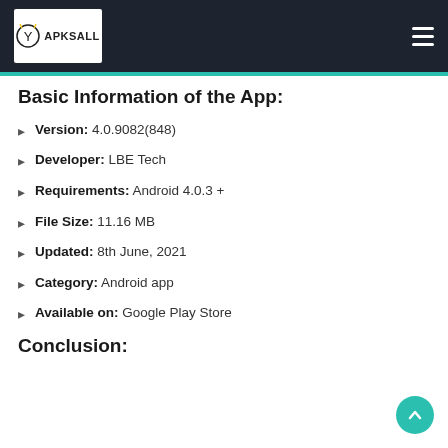APKSALL
Basic Information of the App:
Version: 4.0.9082(848)
Developer: LBE Tech
Requirements: Android 4.0.3 +
File Size: 11.16 MB
Updated: 8th June, 2021
Category: Android app
Available on: Google Play Store
Conclusion: